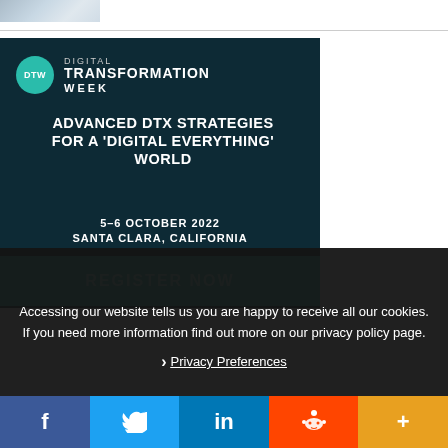[Figure (photo): Partial image at top left, appears to be a snowy or cloudy landscape]
[Figure (infographic): Digital Transformation Week advertisement banner. Dark teal background with DTW logo (teal circle), headline 'ADVANCED DTX STRATEGIES FOR A DIGITAL EVERYTHING WORLD', date '5-6 OCTOBER 2022', location 'SANTA CLARA, CALIFORNIA', and 'REGISTER NOW' button.]
Accessing our website tells us you are happy to receive all our cookies. If you need more information find out more on our privacy policy page.
Privacy Preferences